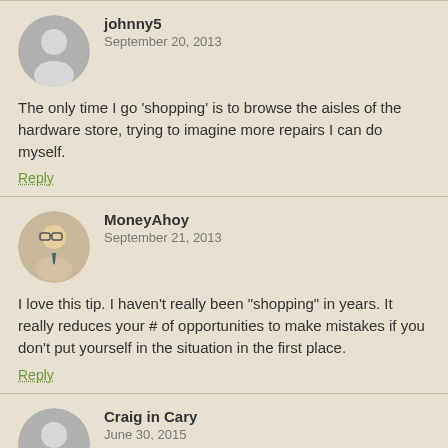johnny5
September 20, 2013
The only time I go 'shopping' is to browse the aisles of the hardware store, trying to imagine more repairs I can do myself.
Reply
MoneyAhoy
September 21, 2013
I love this tip. I haven't really been "shopping" in years. It really reduces your # of opportunities to make mistakes if you don't put yourself in the situation in the first place.
Reply
Craig in Cary
June 30, 2015
Going "shopping" when you're supposedly trying to get ahead is sort of like browsing the liquor store in-between AA meetings.